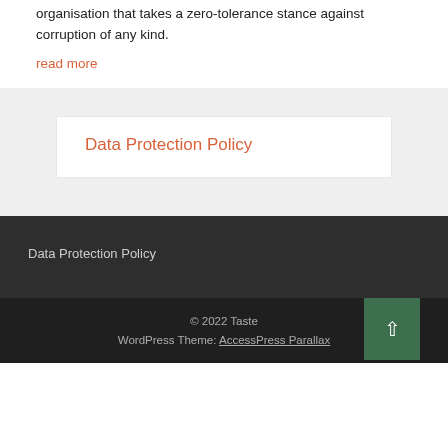organisation that takes a zero-tolerance stance against corruption of any kind. read more
Data Protection Policy
Data Protection Policy
© 2022 Taste WordPress Theme: AccessPress Parallax